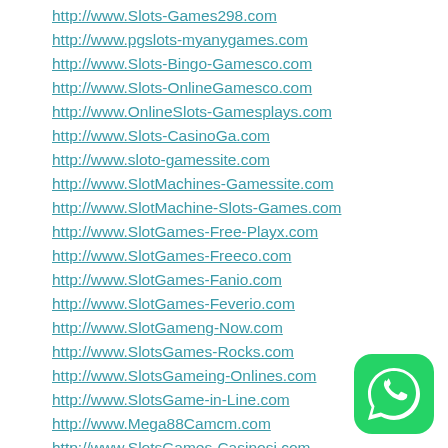http://www.Slots-Games298.com
http://www.pgslots-myanygames.com
http://www.Slots-Bingo-Gamesco.com
http://www.Slots-OnlineGamesco.com
http://www.OnlineSlots-Gamesplays.com
http://www.Slots-CasinoGa.com
http://www.sloto-gamessite.com
http://www.SlotMachines-Gamessite.com
http://www.SlotMachine-Slots-Games.com
http://www.SlotGames-Free-Playx.com
http://www.SlotGames-Freeco.com
http://www.SlotGames-Fanio.com
http://www.SlotGames-Feverio.com
http://www.SlotGameng-Now.com
http://www.SlotsGames-Rocks.com
http://www.SlotsGameing-Onlines.com
http://www.SlotsGame-in-Line.com
http://www.Mega88Camcm.com
http://www.SlotsGames-Casinosi.com
[Figure (logo): WhatsApp green circular logo icon]